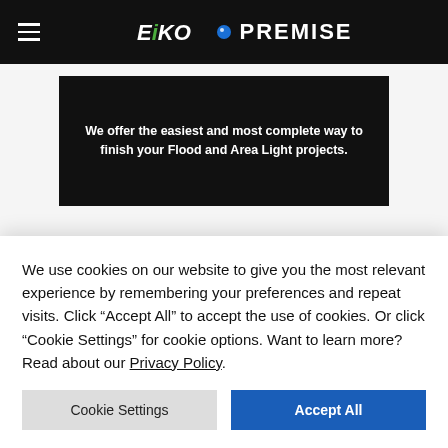EIKO PREMISE
[Figure (illustration): Dark banner with white bold text: 'We offer the easiest and most complete way to finish your Flood and Area Light projects.']
RELATED PRODUCTS
We use cookies on our website to give you the most relevant experience by remembering your preferences and repeat visits. Click “Accept All” to accept the use of cookies. Or click “Cookie Settings” for cookie options. Want to learn more? Read about our Privacy Policy.
Cookie Settings | Accept All